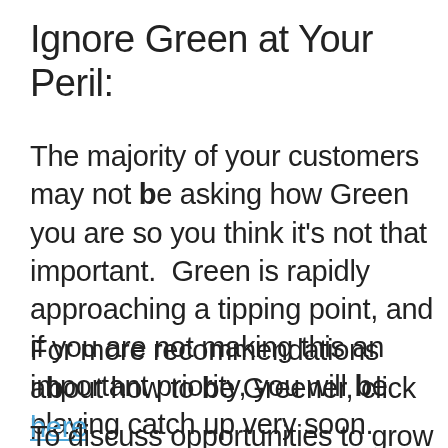Ignore Green at Your Peril:
The majority of your customers may not be asking how Green you are so you think it's not that important.  Green is rapidly approaching a tipping point, and if you are not making this an important priority, you will be playing catch up very soon.
For more recommendations about how to be Greener, click here
To discuss opportunities to grow your sales with strategies like becoming Greener, contact me